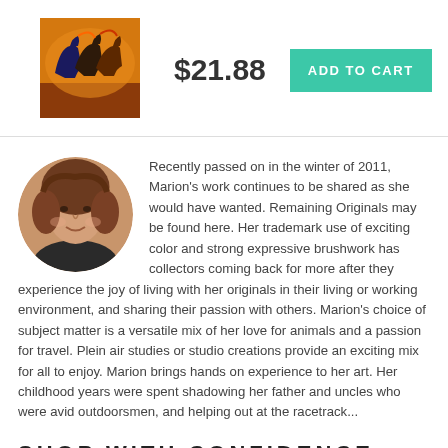[Figure (photo): Painting of horses running, colorful artwork]
$21.88
ADD TO CART
[Figure (photo): Circular profile photo of a woman with curly brown hair]
Recently passed on in the winter of 2011, Marion's work continues to be shared as she would have wanted. Remaining Originals may be found here. Her trademark use of exciting color and strong expressive brushwork has collectors coming back for more after they experience the joy of living with her originals in their living or working environment, and sharing their passion with others. Marion's choice of subject matter is a versatile mix of her love for animals and a passion for travel. Plein air studies or studio creations provide an exciting mix for all to enjoy. Marion brings hands on experience to her art. Her childhood years were spent shadowing her father and uncles who were avid outdoorsmen, and helping out at the racetrack...
SHOP WITH CONFIDENCE